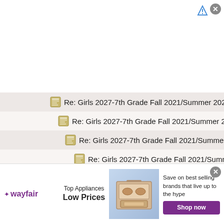[Figure (screenshot): Top advertisement banner area (white background with close button and ad arrow icon)]
Re: Girls 2027-7th Grade Fall 2021/Summer 2022
Re: Girls 2027-7th Grade Fall 2021/Summer 2022
Re: Girls 2027-7th Grade Fall 2021/Summer 2022
Re: Girls 2027-7th Grade Fall 2021/Summer 2022
Re: Girls 2027-7th Grade Fall 2021/Summer 2022
Re: Girls 2027-7th Grade Fall 2021/Summer 2022
Re: Girls 2027-7th Grade Fall 2021/Summer 2022
Re: Girls 2027-7th Grade Fall 2021/Summer 2022
Re: Girls 2027-7th Grade Fall 2021/Summer 2022
Re: Girls 2027-7th Grade Fall 2021/Summer 2022
Re: Girls 2027-7th Grade Fall 2021/Summer 2022
[Figure (screenshot): Bottom Wayfair advertisement banner with logo, Top Appliances Low Prices text, appliance image, Save on best selling brands that live up to the hype, Shop now button]